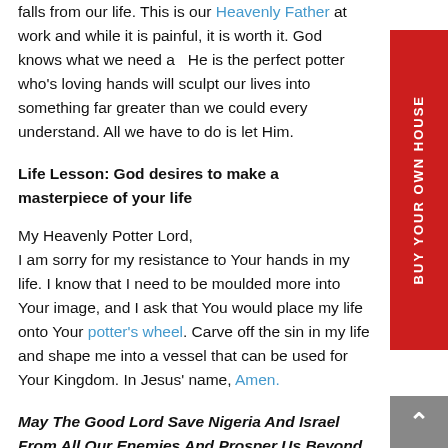falls from our life. This is our Heavenly Father at work and while it is painful, it is worth it. God knows what we need and He is the perfect potter who's loving hands will sculpt our lives into something far greater than we could every understand. All we have to do is let Him.
Life Lesson: God desires to make a masterpiece of your life
My Heavenly Potter Lord,
I am sorry for my resistance to Your hands in my life. I know that I need to be moulded more into Your image, and I ask that You would place my life onto Your potter's wheel. Carve off the sin in my life and shape me into a vessel that can be used for Your Kingdom. In Jesus' name, Amen.
May The Good Lord Save Nigeria And Israel From All Our Enemies And Prosper Us Beyond Our Imaginations, In Jesus Christ Mighty Name We Pray, Amen!